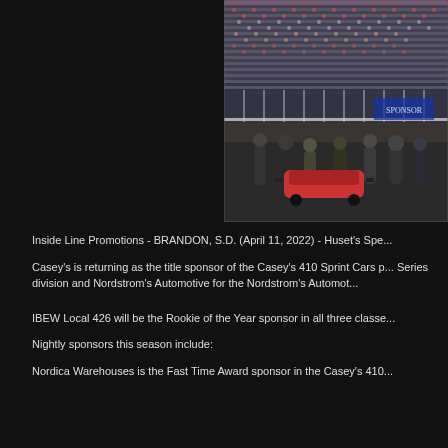[Figure (photo): Crowded racing speedway grandstands at dusk with pit crew members and race cars visible in the foreground]
Inside Line Promotions - BRANDON, S.D. (April 11, 2022) - Huset's Spe...
Casey's is returning as the title sponsor of the Casey's 410 Sprint Cars p... Series division and Nordstrom's Automotive for the Nordstrom's Automot...
IBEW Local 426 will be the Rookie of the Year sponsor in all three classe...
Nightly sponsors this season include:
Nordica Warehouses is the Fast Time Award sponsor in the Casey's 410...